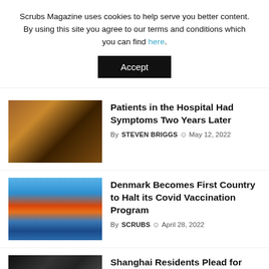Scrubs Magazine uses cookies to help serve you better content. By using this site you agree to our terms and conditions which you can find here.
Accept
Patients in the Hospital Had Symptoms Two Years Later
By STEVEN BRIGGS  May 12, 2022
[Figure (photo): Person wearing a mask, looking downward, warm amber tones]
Denmark Becomes First Country to Halt its Covid Vaccination Program
By SCRUBS  April 28, 2022
[Figure (photo): Danish flag with colorful buildings and boats in Copenhagen harbor]
Shanghai Residents Plead for Help Amid China's Zero COVID-19 Policy
By HONEY ONG  April 28, 2022
[Figure (photo): Dark street scene in Shanghai at night]